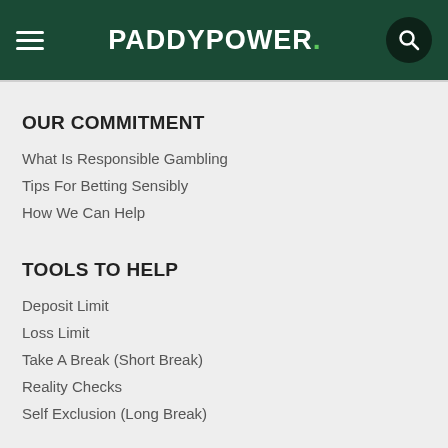[Figure (logo): Paddy Power logo with hamburger menu icon on the left and search icon on the right, on a dark green header background]
OUR COMMITMENT
What Is Responsible Gambling
Tips For Betting Sensibly
How We Can Help
TOOLS TO HELP
Deposit Limit
Loss Limit
Take A Break (Short Break)
Reality Checks
Self Exclusion (Long Break)